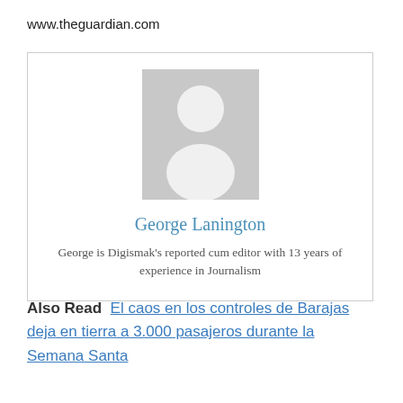www.theguardian.com
[Figure (illustration): Placeholder silhouette avatar of a person on grey background]
George Lanington
George is Digismak’s reported cum editor with 13 years of experience in Journalism
Also Read  El caos en los controles de Barajas deja en tierra a 3.000 pasajeros durante la Semana Santa